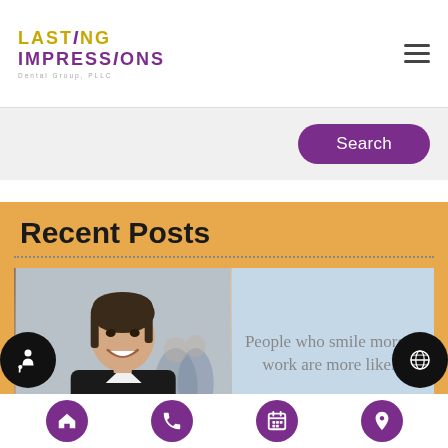[Figure (logo): Lasting Impressions Dental Group PLLC logo with yellow and purple text]
[Figure (other): Hamburger menu icon (three horizontal lines)]
[Figure (other): Purple Search button in gray search bar area]
Recent Posts
[Figure (photo): A smiling professional woman in a suit with colleagues blurred in the background, next to a light blue panel with text: People who smile more at work are more likely]
[Figure (other): Bottom navigation bar with purple circles: home, phone, calendar, location icons]